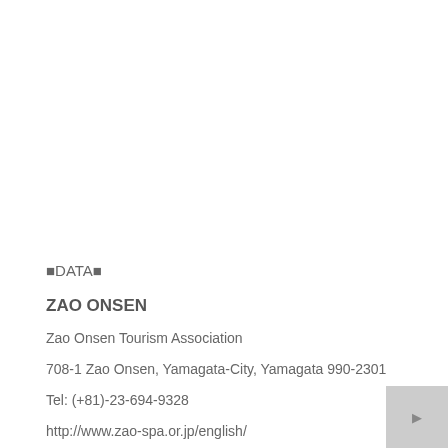■DATA■
ZAO ONSEN
Zao Onsen Tourism Association
708-1 Zao Onsen, Yamagata-City, Yamagata 990-2301
Tel: (+81)-23-694-9328
http://www.zao-spa.or.jp/english/
Click Here For More Info!